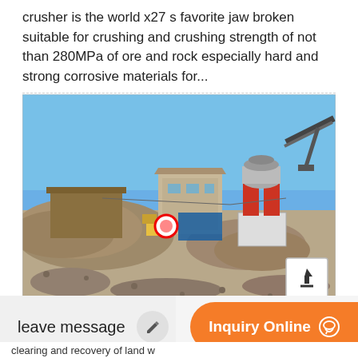crusher is the world x27 s favorite jaw broken suitable for crushing and crushing strength of not than 280MPa of ore and rock especially hard and strong corrosive materials for...
[Figure (photo): Outdoor industrial crushing/mining site showing large piles of crushed rock and gravel, industrial buildings, a cone crusher machine with red and silver cylindrical components, conveyor belts, and clear blue sky in the background.]
leave message
Inquiry Online
clearing and recovery of land w